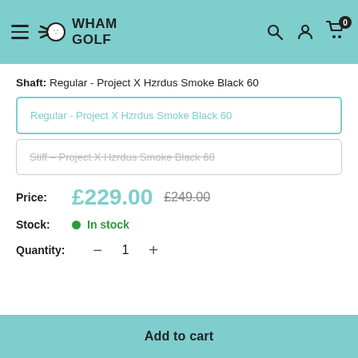Wham Golf — navigation header with hamburger menu, logo, search, account, and cart icons
Shaft: Regular - Project X Hzrdus Smoke Black 60
Regular - Project X Hzrdus Smoke Black 60 (selected)
Stiff – Project X Hzrdus Smoke Black 60 (unavailable, strikethrough)
Price: £229.00  £249.00
Stock: In stock
Quantity: — 1 +
Add to cart